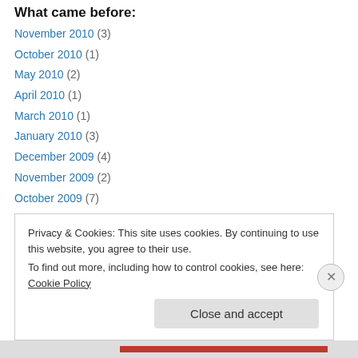What came before:
November 2010 (3)
October 2010 (1)
May 2010 (2)
April 2010 (1)
March 2010 (1)
January 2010 (3)
December 2009 (4)
November 2009 (2)
October 2009 (7)
September 2009 (8)
August 2009 (12)
July 2009 (1)
Privacy & Cookies: This site uses cookies. By continuing to use this website, you agree to their use. To find out more, including how to control cookies, see here: Cookie Policy
Close and accept